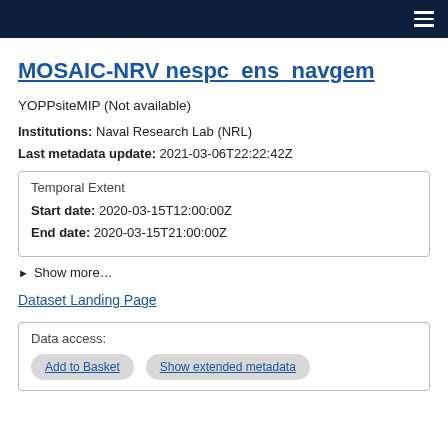MOSAIC-NRV nespc_ens_navgem (navigation bar)
MOSAIC-NRV nespc_ens_navgem
YOPPsiteMIP (Not available)
Institutions: Naval Research Lab (NRL)
Last metadata update: 2021-03-06T22:22:42Z
Temporal Extent
Start date: 2020-03-15T12:00:00Z
End date: 2020-03-15T21:00:00Z
► Show more...
Dataset Landing Page
Data access:
Add to Basket   Show extended metadata